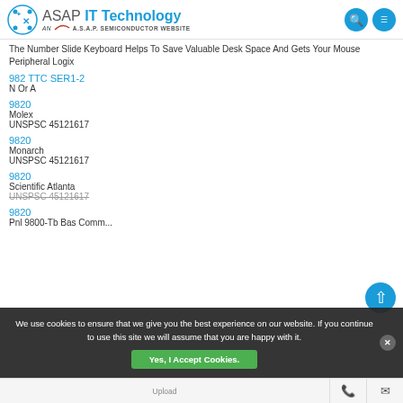ASAP IT Technology — AN A.S.A.P. SEMICONDUCTOR WEBSITE
The Number Slide Keyboard Helps To Save Valuable Desk Space And Gets Your Mouse
Peripheral Logix
982 TTC SER1-2
N Or A
9820
Molex
UNSPSC 45121617
9820
Monarch
UNSPSC 45121617
9820
Scientific Atlanta
UNSPSC 45121617
9820
Pnl 9800-Tb Bas Comm...
We use cookies to ensure that we give you the best experience on our website. If you continue to use this site we will assume that you are happy with it.
Yes, I Accept Cookies.